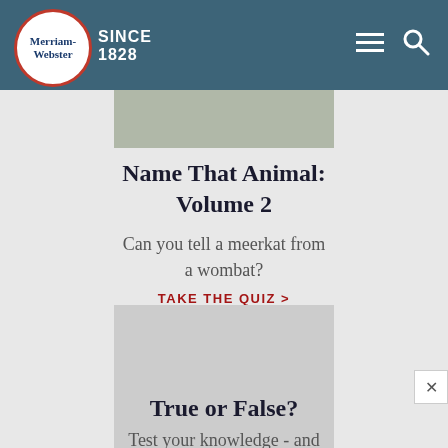Merriam-Webster SINCE 1828
[Figure (photo): Partial animal image at top, cropped]
Name That Animal: Volume 2
Can you tell a meerkat from a wombat?
TAKE THE QUIZ >
[Figure (photo): Gray placeholder image for a quiz card]
True or False?
Test your knowledge - and